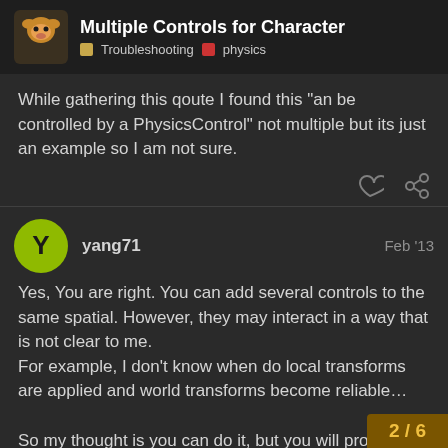Multiple Controls for Character — Troubleshooting · physics
While gathering this qoute I found this "an be controlled by a PhysicsControl" not multiple but its just an example so I am not sure.
yang71  Feb '13
Yes, You are right. You can add several controls to the same spatial. However, they may interact in a way that is not clear to me.
For example, I don't know when do local transforms are applied and world transforms become reliable…

So my thought is you can do it, but you will probably gain lots of headaches trying to make it run the right way…
2 / 6